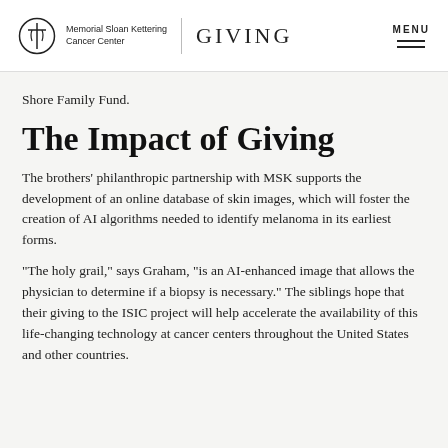Memorial Sloan Kettering Cancer Center | GIVING | MENU
Shore Family Fund.
The Impact of Giving
The brothers' philanthropic partnership with MSK supports the development of an online database of skin images, which will foster the creation of AI algorithms needed to identify melanoma in its earliest forms.
“The holy grail,” says Graham, “is an AI-enhanced image that allows the physician to determine if a biopsy is necessary.” The siblings hope that their giving to the ISIC project will help accelerate the availability of this life-changing technology at cancer centers throughout the United States and other countries.